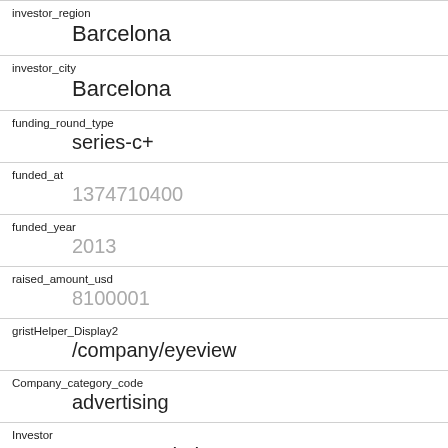investor_region
Barcelona
investor_city
Barcelona
funding_round_type
series-c+
funded_at
1374710400
funded_year
2013
raised_amount_usd
8100001
gristHelper_Display2
/company/eyeview
Company_category_code
advertising
Investor
Nauta Capital
https://www.crunchbase.com/financial-